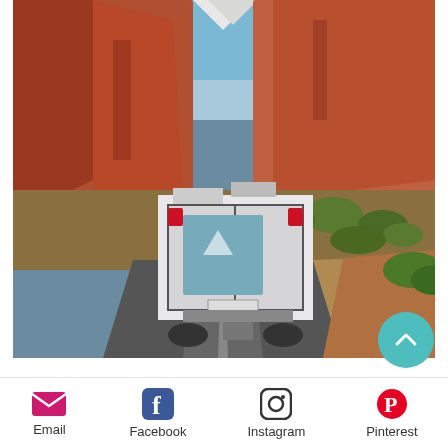[Figure (photo): RV/camper van viewed from behind on a desert road with red rock canyon formations and blue sky in background at Zion National Park area. A person stands beside the road. The back of the RV has a national park scene painted on it.]
If Zion is the only national park you're
[Figure (other): Social sharing bar with Email, Facebook, Instagram, and Pinterest icons and labels]